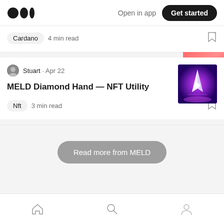Medium logo | Open in app | Get started
Cardano  4 min read
[Figure (screenshot): Partial thumbnail showing CAM letters on pink/red background]
Stuart · Apr 22
MELD Diamond Hand — NFT Utility
Nft  3 min read
[Figure (illustration): NFT artwork thumbnail with purple/magenta space ship on dark background]
Read more from MELD
Home | Search | Profile